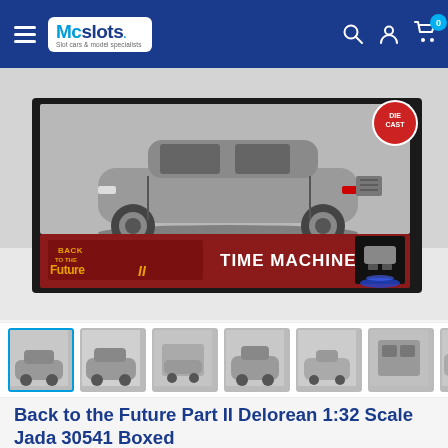Mcslots — Slot cars & model specialist
[Figure (photo): Back to the Future Part II DeLorean Time Machine 1:32 scale die-cast model in box packaging. The box shows 'Back to the Future II' branding and 'TIME MACHINE' text, with a silver DeLorean car model visible inside clear packaging.]
[Figure (photo): Thumbnail gallery showing 6 photos of the Back to the Future Part II DeLorean model from various angles including boxed, unboxed, side, front, and interior views.]
Back to the Future Part II Delorean 1:32 Scale Jada 30541 Boxed